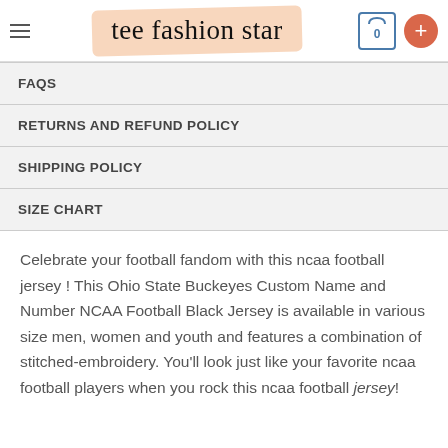tee fashion star — 0 +
FAQS
RETURNS AND REFUND POLICY
SHIPPING POLICY
SIZE CHART
Celebrate your football fandom with this ncaa football jersey ! This Ohio State Buckeyes Custom Name and Number NCAA Football Black Jersey is available in various size men, women and youth and features a combination of stitched-embroidery. You'll look just like your favorite ncaa football players when you rock this ncaa football jersey!